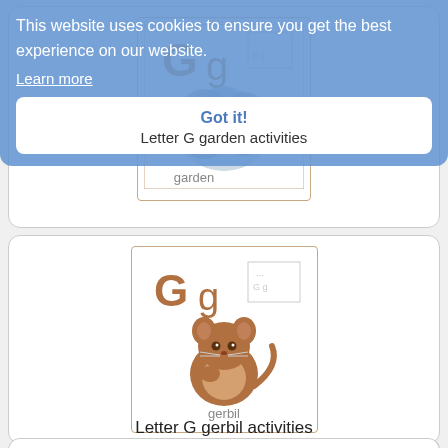[Figure (screenshot): Cookie consent overlay banner with blue background showing message 'This website uses cookies to ensure you get the best experience on our website.' with Learn more link and Got it! button above Letter G garden activities card]
This website uses cookies to ensure you get the best experience on our website.
Learn more
Got it!
Letter G garden activities
[Figure (illustration): Letter G gerbil flashcard showing large G g letters and a brown cartoon gerbil/monkey with the word 'gerbil' below]
Letter G gerbil activities